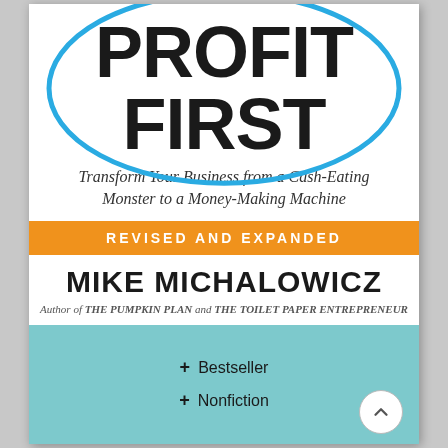[Figure (illustration): Book cover of Profit First by Mike Michalowicz. Shows large bold title text PROFIT FIRST with a blue oval/ellipse outline around it, subtitle text, an orange banner reading REVISED AND EXPANDED, author name MIKE MICHALOWICZ, author credit line, and a teal footer with Bestseller and Nonfiction category tags.]
PROFIT FIRST
Transform Your Business from a Cash-Eating Monster to a Money-Making Machine
REVISED AND EXPANDED
MIKE MICHALOWICZ
Author of THE PUMPKIN PLAN and THE TOILET PAPER ENTREPRENEUR
+ Bestseller
+ Nonfiction